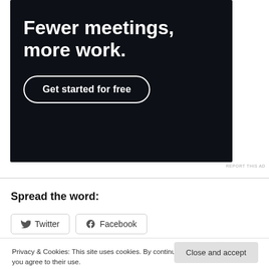[Figure (screenshot): Dark advertisement banner with white bold text 'Fewer meetings, more work.' and a 'Get started for free' button with rounded border on dark background.]
REPORT THIS AD
Spread the word:
Twitter  Facebook
Privacy & Cookies: This site uses cookies. By continuing to use this website, you agree to their use.
To find out more, including how to control cookies, see here: Cookie Policy
Close and accept